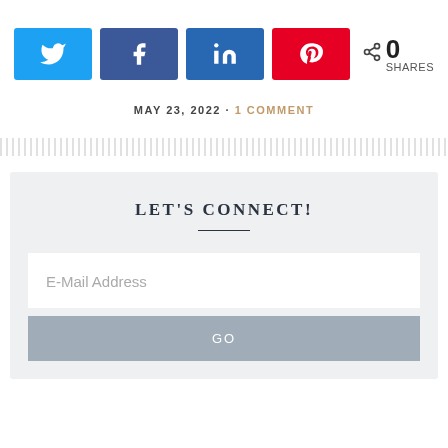[Figure (infographic): Social media share buttons: Twitter (light blue), Facebook (dark blue), LinkedIn (dark blue), Pinterest (red), and a share count showing 0 SHARES]
MAY 23, 2022 · 1 COMMENT
[Figure (other): Dotted/dashed horizontal divider line]
LET'S CONNECT!
E-Mail Address
GO